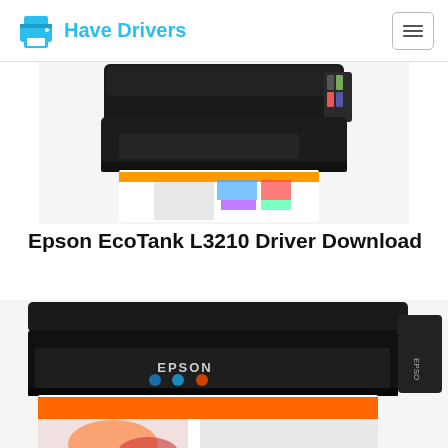Have Drivers
[Figure (photo): Epson EcoTank L3210 printer photo showing the printer from a front-left angle with colorful printed pages and ink tanks visible]
Epson EcoTank L3210 Driver Download
[Figure (photo): Epson L220 printer photo showing the printer from a front angle with printed pages coming out, EPSON branding on front panel, and ink tank on the right side]
Epson L220 Driver Download Complete